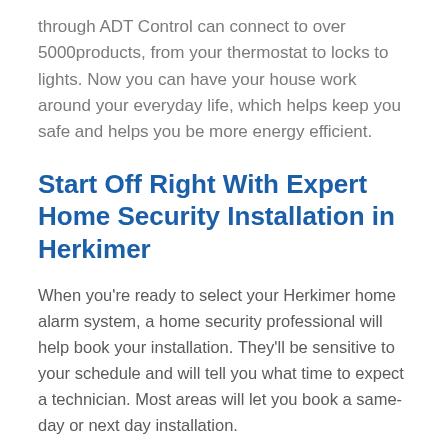through ADT Control can connect to over 5000products, from your thermostat to locks to lights. Now you can have your house work around your everyday life, which helps keep you safe and helps you be more energy efficient.
Start Off Right With Expert Home Security Installation in Herkimer
When you’re ready to select your Herkimer home alarm system, a home security professional will help book your installation. They’ll be sensitive to your schedule and will tell you what time to expect a technician. Most areas will let you book a same-day or next day installation.
When the technician arrives, they’ll...